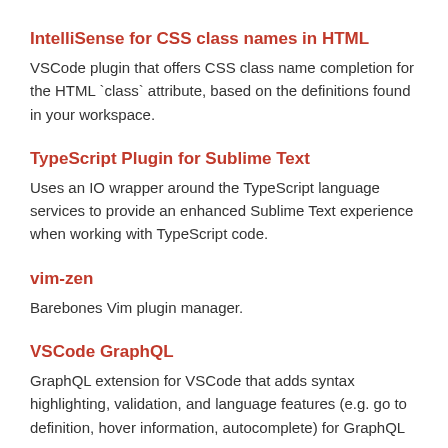IntelliSense for CSS class names in HTML
VSCode plugin that offers CSS class name completion for the HTML `class` attribute, based on the definitions found in your workspace.
TypeScript Plugin for Sublime Text
Uses an IO wrapper around the TypeScript language services to provide an enhanced Sublime Text experience when working with TypeScript code.
vim-zen
Barebones Vim plugin manager.
VSCode GraphQL
GraphQL extension for VSCode that adds syntax highlighting, validation, and language features (e.g. go to definition, hover information, autocomplete) for GraphQL